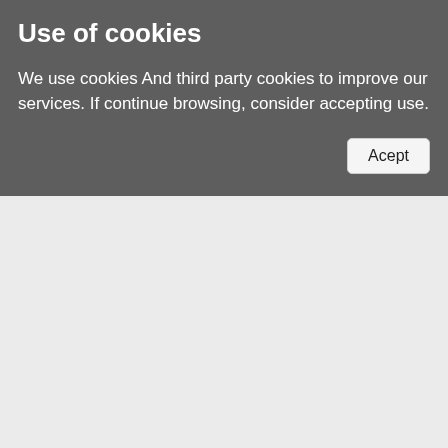Use of cookies
We use cookies And third party cookies to improve our services. If continue browsing, consider accepting use.
Acept